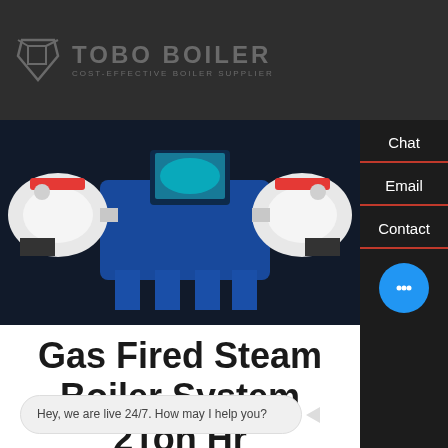TOBO BOILER — COST-EFFECTIVE BOILER SUPPLIER
[Figure (photo): Gas fired steam boiler system product photo — blue and white industrial boiler unit on dark background with red and white components visible]
Gas Fired Steam Boiler System 2Ton Hr
Hey, we are live 24/7. How may I help you?